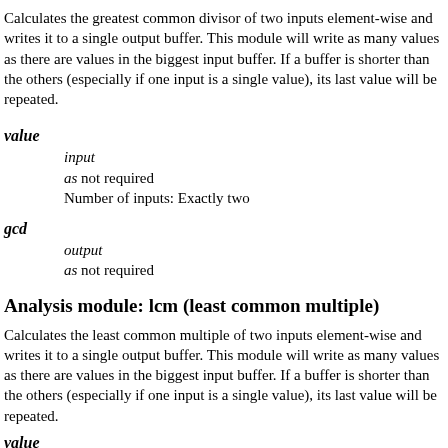Calculates the greatest common divisor of two inputs element-wise and writes it to a single output buffer. This module will write as many values as there are values in the biggest input buffer. If a buffer is shorter than the others (especially if one input is a single value), its last value will be repeated.
value
input
as not required
Number of inputs: Exactly two
gcd
output
as not required
Analysis module: lcm (least common multiple)
Calculates the least common multiple of two inputs element-wise and writes it to a single output buffer. This module will write as many values as there are values in the biggest input buffer. If a buffer is shorter than the others (especially if one input is a single value), its last value will be repeated.
value